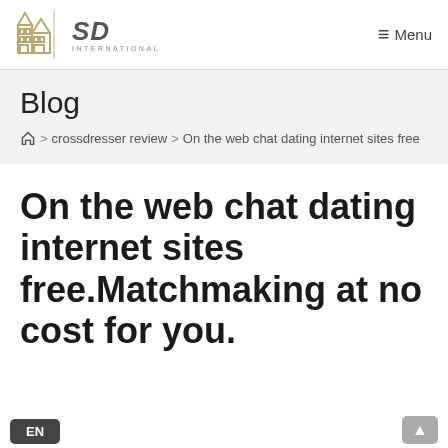[Figure (logo): SD International logo with building icon and SD INTERNATIONAL text]
≡ Menu
Blog
🏠 > crossdresser review > On the web chat dating internet sites free
On the web chat dating internet sites free.Matchmaking at no cost for you.
EN